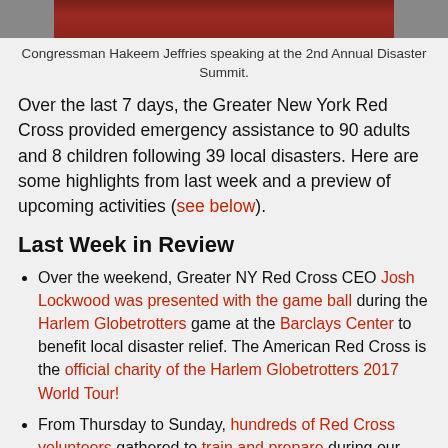[Figure (photo): Cropped photo strip showing Congressman Hakeem Jeffries speaking, partial view at top of page]
Congressman Hakeem Jeffries speaking at the 2nd Annual Disaster Summit.
Over the last 7 days, the Greater New York Red Cross provided emergency assistance to 90 adults and 8 children following 39 local disasters. Here are some highlights from last week and a preview of upcoming activities (see below).
Last Week in Review
Over the weekend, Greater NY Red Cross CEO Josh Lockwood was presented with the game ball during the Harlem Globetrotters game at the Barclays Center to benefit local disaster relief. The American Red Cross is the official charity of the Harlem Globetrotters 2017 World Tour!
From Thursday to Sunday, hundreds of Red Cross volunteers gathered to train and prepare during our 2nd Annual Disaster Summit hosted at our Regional Headquarters. Congressman Hakeem Jeffries delivered a rousing keynote